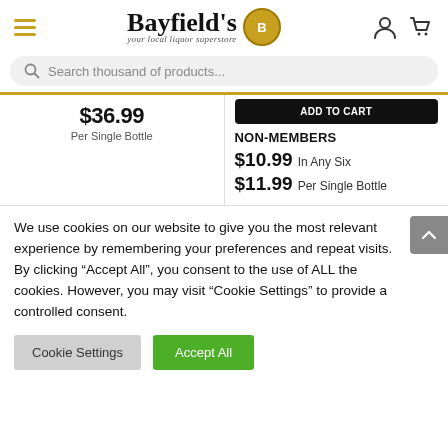Bayfield's — your local liquor superstore
Search thousand of products...
$36.99 Per Single Bottle
NON-MEMBERS $10.99 In Any Six $11.99 Per Single Bottle
We use cookies on our website to give you the most relevant experience by remembering your preferences and repeat visits. By clicking “Accept All”, you consent to the use of ALL the cookies. However, you may visit "Cookie Settings" to provide a controlled consent.
Cookie Settings | Accept All